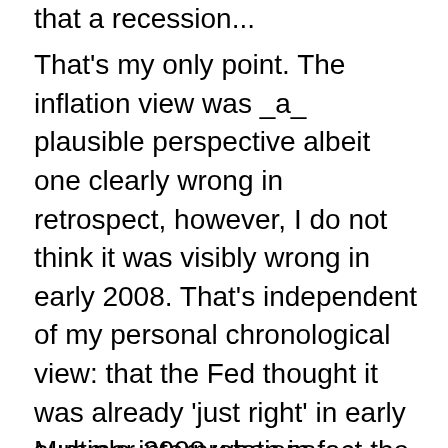that a recession...
That's my only point. The inflation view was _a_ plausible perspective albeit one clearly wrong in retrospect, however, I do not think it was visibly wrong in early 2008. That's independent of my personal chronological view: that the Fed thought it was already 'just right' in early summer 2008 when in fact the natural rate continued to fall, the fed funds did not fall with it, policy tightened--and expectations tightened, and wham the floor fell out.
Multiple interpretations...